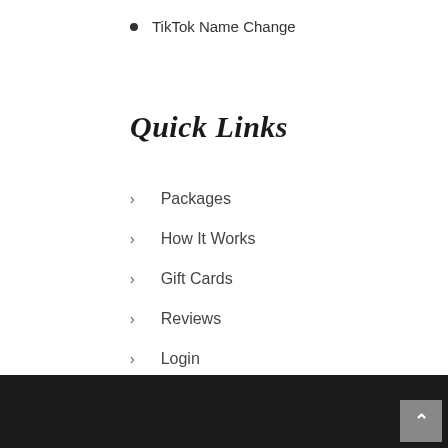TikTok Name Change
Quick Links
Packages
How It Works
Gift Cards
Reviews
Login